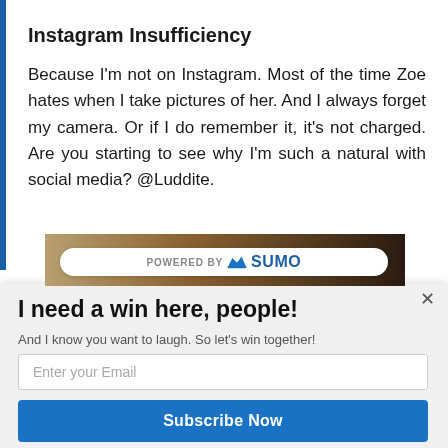Instagram Insufficiency
Because I'm not on Instagram. Most of the time Zoe hates when I take pictures of her. And I always forget my camera. Or if I do remember it, it's not charged. Are you starting to see why I'm such a natural with social media? @Luddite.
[Figure (screenshot): Sumo powered-by bar overlaying a photo strip]
I need a win here, people!
And I know you want to laugh. So let's win together!
Enter your Email
Subscribe Now